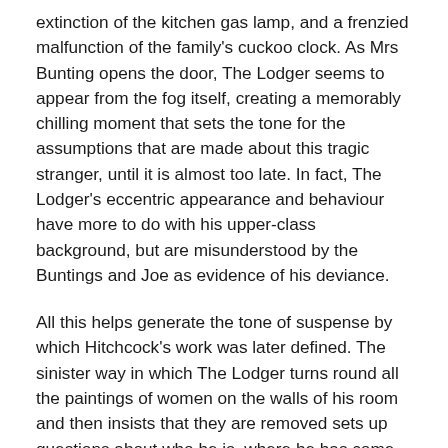extinction of the kitchen gas lamp, and a frenzied malfunction of the family's cuckoo clock. As Mrs Bunting opens the door, The Lodger seems to appear from the fog itself, creating a memorably chilling moment that sets the tone for the assumptions that are made about this tragic stranger, until it is almost too late. In fact, The Lodger's eccentric appearance and behaviour have more to do with his upper-class background, but are misunderstood by the Buntings and Joe as evidence of his deviance.
All this helps generate the tone of suspense by which Hitchcock's work was later defined. The sinister way in which The Lodger turns round all the paintings of women on the walls of his room and then insists that they are removed sets up questions about who he is, where he has come from and what his intentions might be which are left unanswered for the majority of the film. The shaking of the kitchen lamp as he paces above and the use of a transparent ceiling/floor to allow the audience to see his feet as they walk up and down, heighten the effect of anxiety. Moreover, the very timing of his arrival to coincide with the hysterical reporting of the seventh